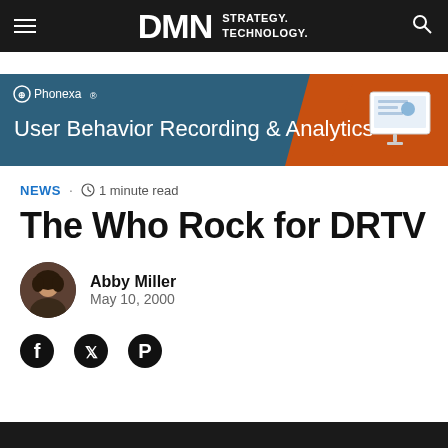DMN STRATEGY. TECHNOLOGY.
[Figure (illustration): Phonexa ad banner: User Behavior Recording & Analytics with monitor graphic]
NEWS · 1 minute read
The Who Rock for DRTV
Abby Miller
May 10, 2000
[Figure (illustration): Social sharing icons: Facebook, Twitter, Pinterest]